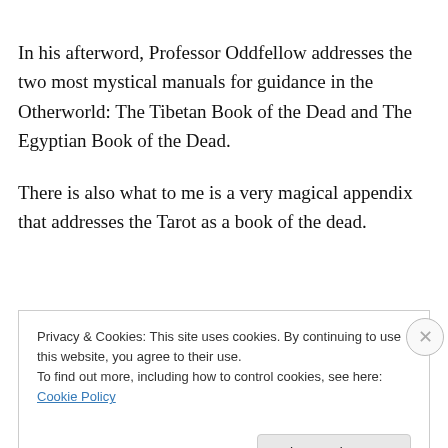In his afterword, Professor Oddfellow addresses the two most mystical manuals for guidance in the Otherworld: The Tibetan Book of the Dead and The Egyptian Book of the Dead.
There is also what to me is a very magical appendix that addresses the Tarot as a book of the dead.
"Books of the Dead" was intended to act as a book reader
Privacy & Cookies: This site uses cookies. By continuing to use this website, you agree to their use.
To find out more, including how to control cookies, see here: Cookie Policy